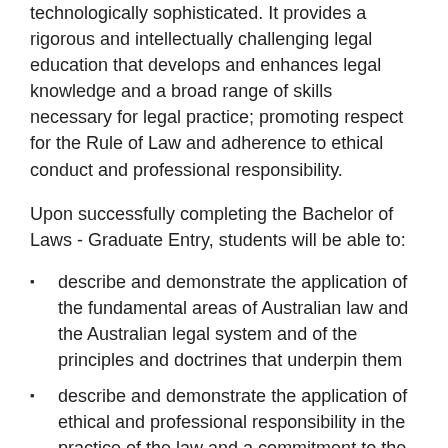technologically sophisticated. It provides a rigorous and intellectually challenging legal education that develops and enhances legal knowledge and a broad range of skills necessary for legal practice; promoting respect for the Rule of Law and adherence to ethical conduct and professional responsibility.
Upon successfully completing the Bachelor of Laws - Graduate Entry, students will be able to:
describe and demonstrate the application of the fundamental areas of Australian law and the Australian legal system and of the principles and doctrines that underpin them
describe and demonstrate the application of ethical and professional responsibility in the practice of the law and a commitment to the pursuit of justice
analyse and evaluate the interdisciplinary contexts in which legal issues arise and the